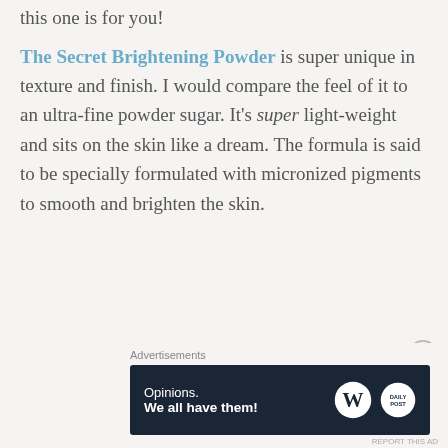this one is for you!
The Secret Brightening Powder is super unique in texture and finish. I would compare the feel of it to an ultra-fine powder sugar. It's super light-weight and sits on the skin like a dream. The formula is said to be specially formulated with micronized pigments to smooth and brighten the skin.
Advertisements
[Figure (screenshot): Advertisement banner with dark navy background. Left side shows text 'Opinions. We all have them!' Right side shows WordPress logo (W in circle) and Daily Post logo (circular badge). Close button (X in circle) appears above the ad.]